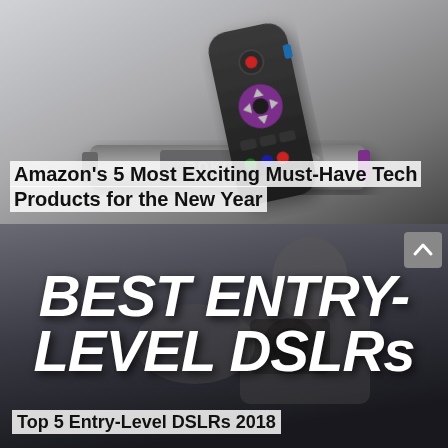[Figure (photo): Roku streaming stick and remote control on a gray gradient background. The remote has a purple directional pad and various buttons. The streaming stick is in the foreground.]
Amazon's 5 Most Exciting Must-Have Tech Products for the New Year
[Figure (photo): A photographer holding a camera up to their face, out of focus in background. Large bold italic white text overlay reads 'BEST ENTRY-LEVEL DSLRs 2018'. A scroll-to-top arrow button is visible in the top right corner.]
Top 5 Entry-Level DSLRs 2018